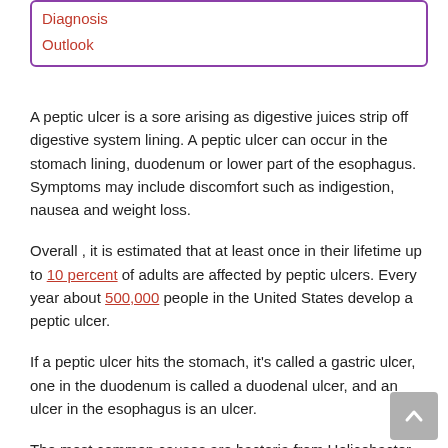Diagnosis
Outlook
A peptic ulcer is a sore arising as digestive juices strip off digestive system lining. A peptic ulcer can occur in the stomach lining, duodenum or lower part of the esophagus. Symptoms may include discomfort such as indigestion, nausea and weight loss.
Overall , it is estimated that at least once in their lifetime up to 10 percent of adults are affected by peptic ulcers. Every year about 500,000 people in the United States develop a peptic ulcer.
If a peptic ulcer hits the stomach, it's called a gastric ulcer, one in the duodenum is called a duodenal ulcer, and an ulcer in the esophagus is an ulcer.
The most common causes are bacteria from Helicobacter pylori ( H. pylori), and the use of non-steroidal anti-inflammatory drugs.